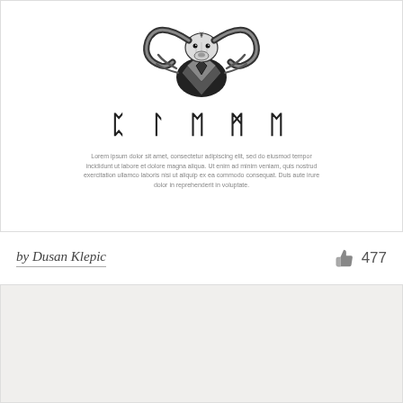[Figure (illustration): Black and white woodcut/engraving style illustration of a ram or goat head with large curved horns, with decorative runic-style text 'PLEME' below it, and lorem ipsum placeholder text beneath]
Lorem ipsum dolor sit amet, consectetur adipiscing elit, sed do eiusmod tempor incididunt ut labore et dolore magna aliqua. Ut enim ad minim veniam, quis nostrud exercitation ullamco laboris nisi ut aliquip ex ea commodo consequat. Duis aute irure dolor in reprehenderit in voluptate.
by Dusan Klepic
477
[Figure (illustration): Light gray/beige empty card area at the bottom of the page]